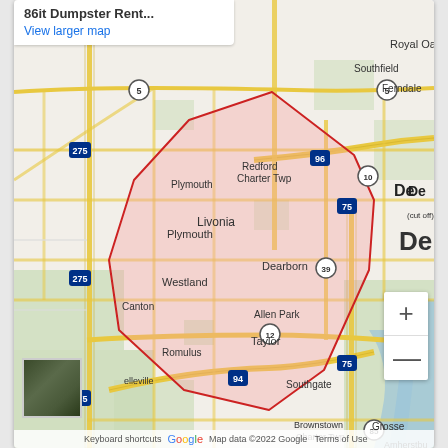86it Dumpster Rent...
View larger map
[Figure (map): Google Maps screenshot showing service area for 86it Dumpster Rental in the Detroit, Michigan metro area. A red polygon outlines the service region covering Livonia, Westland, Dearborn, Taylor, and surrounding communities. Major highways visible include I-275, I-96, I-94, I-75, US-12, M-5, M-39, M-10, M-85. Cities labeled include Plymouth, Canton, Romulus, Belleville, Westland, Livonia, Redford Charter Twp, Southfield, Ferndale, Royal Oak, Dearborn, Allen Park, Taylor, Southgate, Brownstown Charter Twp, Grosse, Amherstburg, and partial 'De' for Detroit.]
Keyboard shortcuts   Map data ©2022 Google   Terms of Use